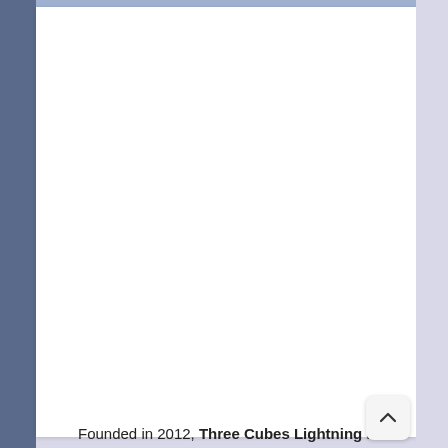Founded in 2012, Three Cubes Lightning is...